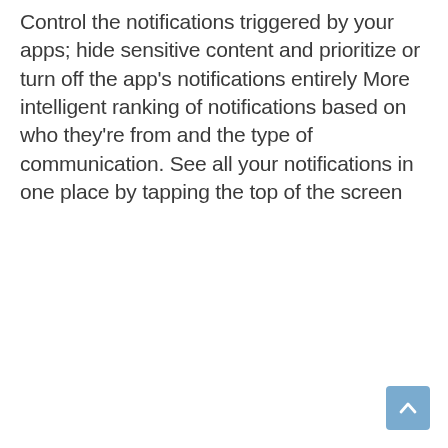Control the notifications triggered by your apps; hide sensitive content and prioritize or turn off the app's notifications entirely More intelligent ranking of notifications based on who they're from and the type of communication. See all your notifications in one place by tapping the top of the screen